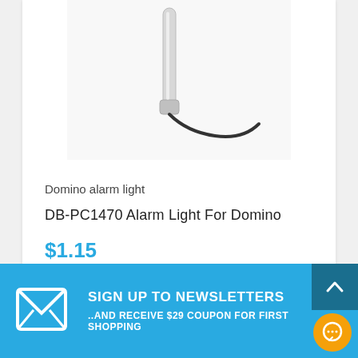[Figure (photo): Product photo of a Domino alarm light — a slender cylindrical device in white/silver with a black cable attached, shown against a white background.]
Domino alarm light
DB-PC1470 Alarm Light For Domino
$1.15
SIGN UP TO NEWSLETTERS
..AND RECEIVE $29 COUPON FOR FIRST SHOPPING